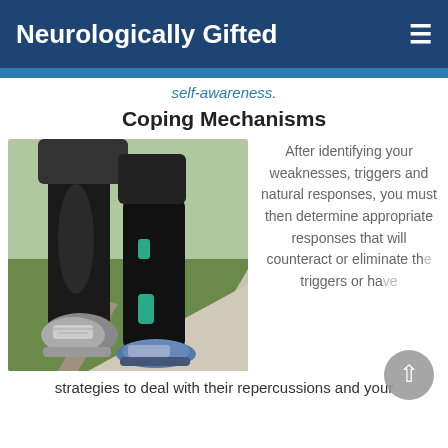Neurologically Gifted
self-awareness.
Coping Mechanisms
[Figure (photo): Close-up photo of a runner's legs in black compression tights and running shoes on a path with grass in the background.]
After identifying your weaknesses, triggers and natural responses, you must then determine appropriate responses that will counteract or eliminate the triggers or have strategies to deal with their repercussions and your
strategies to deal with their repercussions and your